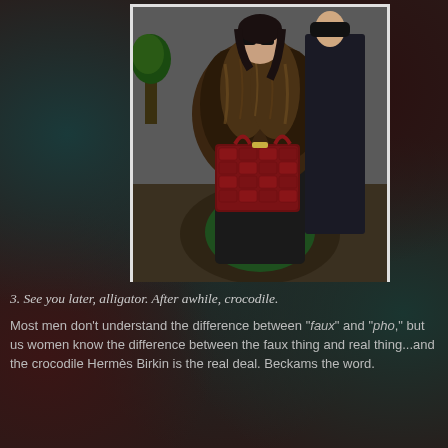[Figure (photo): A woman wearing a large fur coat and sunglasses, holding a dark red crocodile-skin Hermès Birkin bag. She is walking near a Starbucks entrance. A man in a dark suit is visible behind her.]
3. See you later, alligator. After awhile, crocodile.
Most men don't understand the difference between "faux" and "pho," but us women know the difference between the faux thing and real thing...and the crocodile Hermès Birkin is the real deal. Beckams the word.